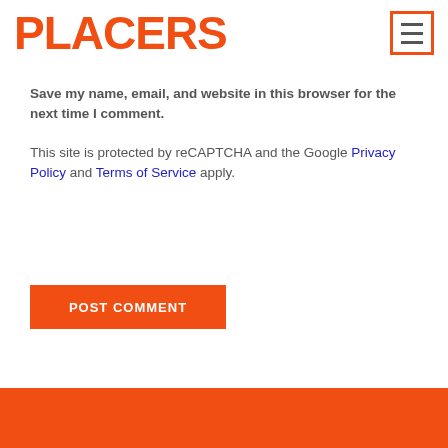[Figure (logo): PLACERS logo in bold orange font]
Save my name, email, and website in this browser for the next time I comment.
This site is protected by reCAPTCHA and the Google Privacy Policy and Terms of Service apply.
POST COMMENT